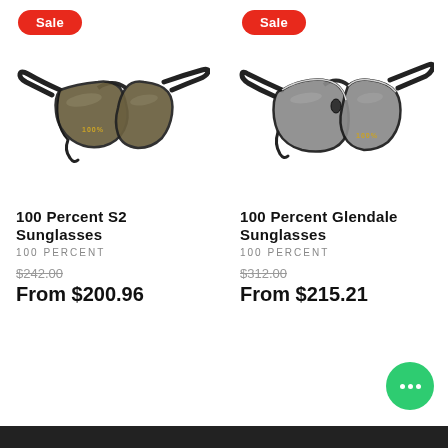[Figure (photo): 100 Percent S2 Sunglasses product photo - black wraparound sport sunglasses with gold-tinted lenses]
[Figure (photo): 100 Percent Glendale Sunglasses product photo - black wraparound sport sunglasses with grey lenses]
Sale
Sale
100 Percent S2 Sunglasses
100 PERCENT
$242.00
From $200.96
100 Percent Glendale Sunglasses
100 PERCENT
$312.00
From $215.21